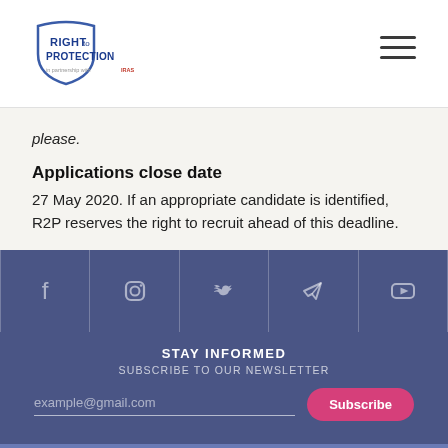[Figure (logo): Right to Protection logo — shield shape with 'RIGHT to PROTECTION' text and 'in partnership with IRAS' tagline]
please.
Applications close date
27 May 2020. If an appropriate candidate is identified, R2P reserves the right to recruit ahead of this deadline.
[Figure (infographic): Social media icons row: Facebook, Instagram, Twitter, Telegram, YouTube — white icons on dark blue background with dividers]
STAY INFORMED
SUBSCRIBE TO OUR NEWSLETTER
example@gmail.com
Subscribe